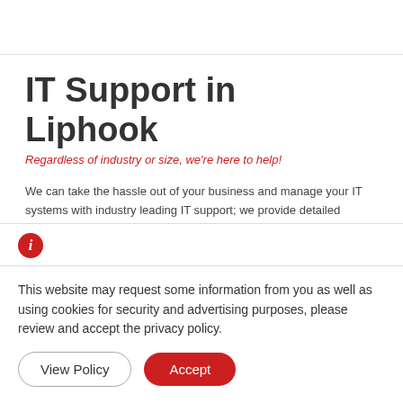IT Support in Liphook
Regardless of industry or size, we're here to help!
We can take the hassle out of your business and manage your IT systems with industry leading IT support; we provide detailed reports to keep you constantly updated.
We provide security to protect against external and internal
This website may request some information from you as well as using cookies for security and advertising purposes, please review and accept the privacy policy.